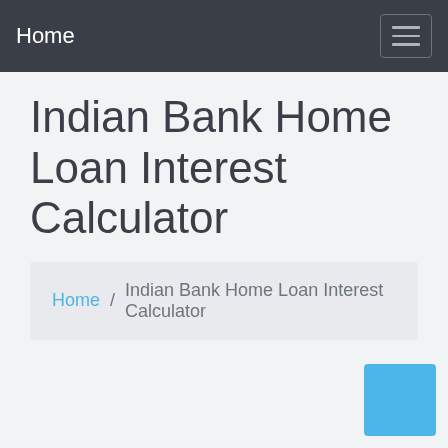Home
Indian Bank Home Loan Interest Calculator
Home / Indian Bank Home Loan Interest Calculator
[Figure (other): Light blue square button in the bottom-right corner, likely a scroll-to-top or action button]